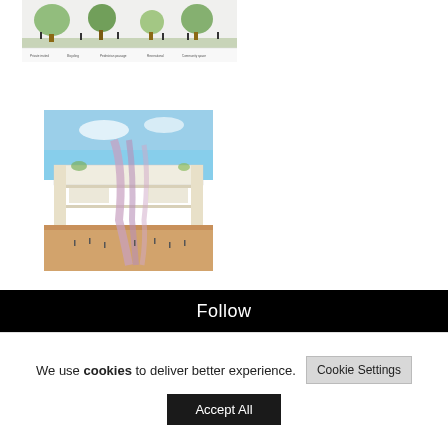[Figure (illustration): Architectural section/elevation drawing showing a green roof landscape with trees and human silhouettes, with labeled zones at the bottom]
[Figure (illustration): Architectural rendering showing a sectional perspective of a large interior public space with people, featuring dramatic structural elements, sky visible above, and warm sandy/earth tones]
Follow
We use cookies to deliver better experience.
Cookie Settings
Accept All